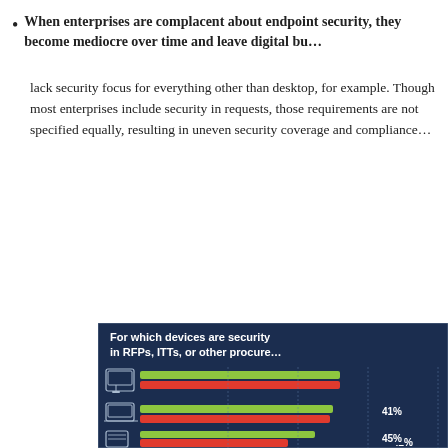When enterprises are complacent about endpoint security, they become mediocre over time and leave digital bu... lack security focus for everything other than desktop, for example. Though most enterprises include security in requests, those requirements are not specified equally, resulting in uneven security coverage and compliance...
[Figure (bar-chart): Horizontal bar chart on dark navy background showing security requirement inclusion by device type. Devices shown include desktop/workstation, laptop, server/rack, and another device. Green and red bars shown per device. Visible value labels: 42%, 41%, 45%.]